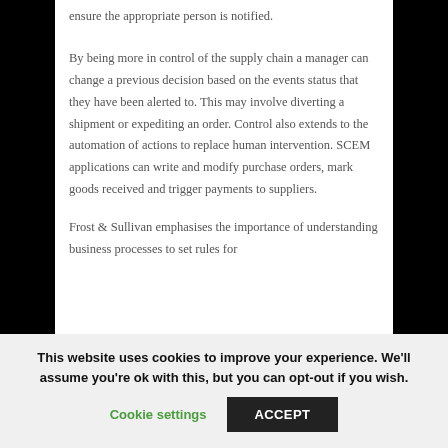ensure the appropriate person is notified.
By being more in control of the supply chain a manager can change a previous decision based on the events status that they have been alerted to. This may involve diverting a shipment or expediting an order. Control also extends to the automation of actions to replace human intervention. SCEM applications can write and modify purchase orders, mark goods received and trigger payments to suppliers.
Frost & Sullivan emphasises the importance of understanding business processes to set rules for
This website uses cookies to improve your experience. We'll assume you're ok with this, but you can opt-out if you wish.